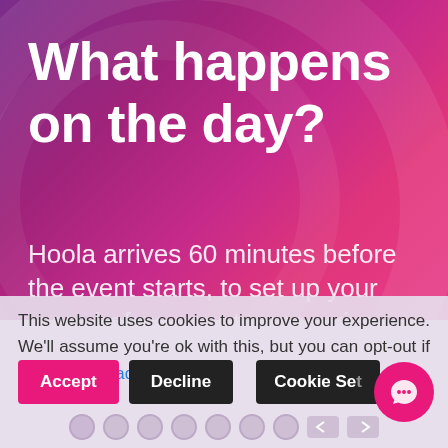What happens on the day?
Hoola arrives 60 minutes before the event starts, to set up your room before your teams arrive.
This website uses cookies to improve your experience. We'll assume you're ok with this, but you can opt-out if you wish. Read More